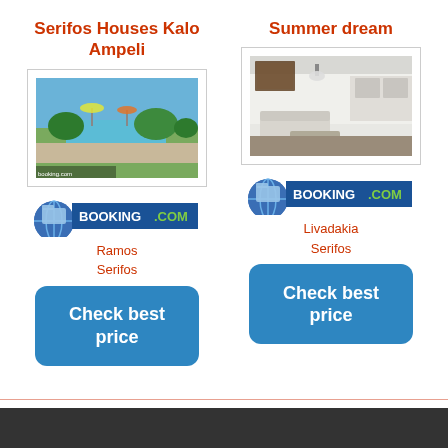Serifos Houses Kalo Ampeli
Summer dream
[Figure (photo): Outdoor poolside area with garden and sea view at Serifos Houses Kalo Ampeli]
[Figure (photo): Indoor living room/kitchen interior at Summer dream property]
[Figure (logo): Booking.com logo badge with globe icon]
[Figure (logo): Booking.com logo badge with globe icon]
Ramos
Serifos
Livadakia
Serifos
Check best price
Check best price